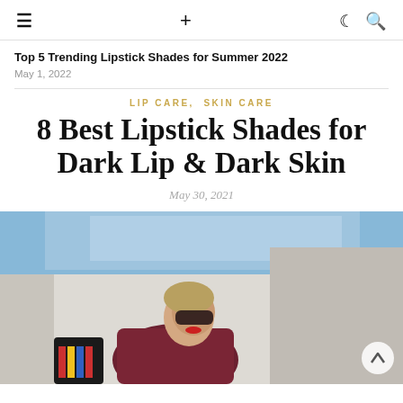≡  +  ☾ 🔍
Top 5 Trending Lipstick Shades for Summer 2022
May 1, 2022
LIP CARE,  SKIN CARE
8 Best Lipstick Shades for Dark Lip & Dark Skin
May 30, 2021
[Figure (photo): Woman wearing red lipstick and sunglasses, holding a shopping bag, against a light wall background with blue sky.]